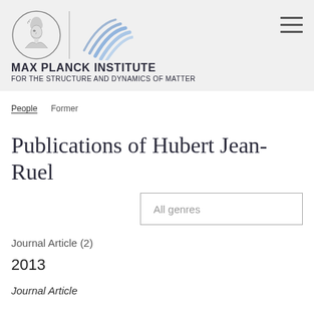MAX PLANCK INSTITUTE FOR THE STRUCTURE AND DYNAMICS OF MATTER
People  Former
Publications of Hubert Jean-Ruel
All genres
Journal Article (2)
2013
Journal Article